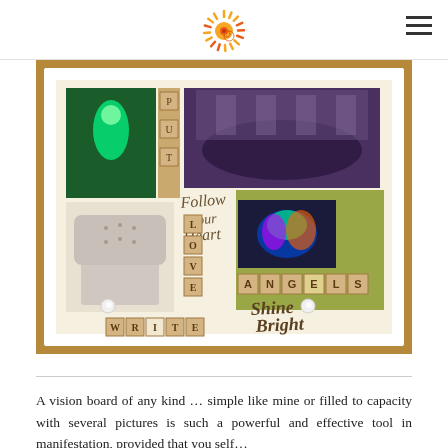[Sun logo] [Hamburger menu]
[Figure (photo): A vision board inside a white shadow box frame, featuring photos, scrabble-letter tiles spelling WRITE, LOVE, ANGELS, inspirational cutout words reading 'Follow Your Heart', 'Shine Bright', a photo of an ornate concert hall, a colorful peacock/bird photo, a white tufted armchair photo, a green glowing figure image, and letter stamps on a dotted background.]
A vision board of any kind … simple like mine or filled to capacity with several pictures is such a powerful and effective tool in manifestation, provided that you self…